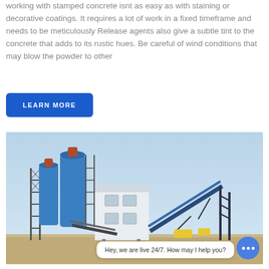working with stamped concrete isnt as easy as with staining or decorative coatings. It requires a lot of work in a fixed timeframe and needs to be meticulously Release agents also give a subtle tint to the concrete that adds to its rustic hues. Be careful of wind conditions that may blow the powder to other
LEARN MORE
[Figure (photo): Industrial concrete batching plant with two large blue cylindrical silos, scaffolding, a white control building/office structure, and conveyor belts. Set against a light blue sky with flat terrain visible in the background.]
Hey, we are live 24/7. How may I help you?